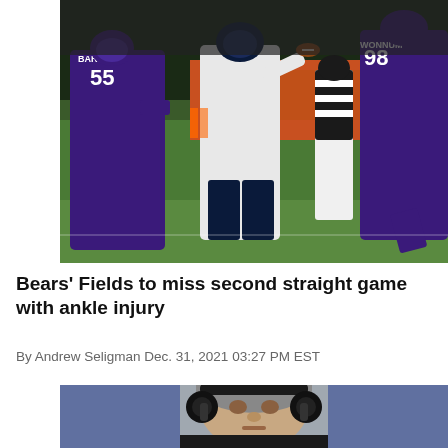[Figure (photo): NFL football game action photo: Chicago Bears quarterback in white jersey throwing a pass while Minnesota Vikings defenders in purple jerseys with numbers 55 and 98 rush him. A referee in striped uniform stands in background. Night game on green field.]
Bears' Fields to miss second straight game with ankle injury
By Andrew Seligman Dec. 31, 2021 03:27 PM EST
[Figure (photo): Close-up photo of a middle-aged male NFL coach with grey hair wearing black headset/headphones, outdoors at a stadium.]